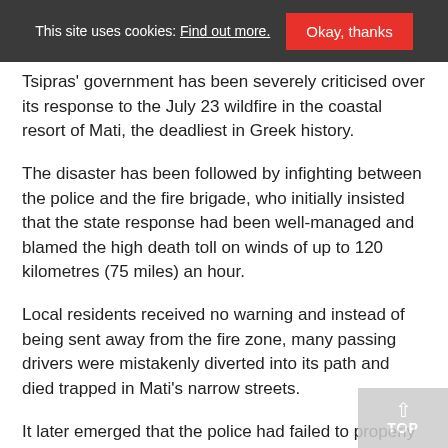This site uses cookies: Find out more. Okay, thanks
Tsipras' government has been severely criticised over its response to the July 23 wildfire in the coastal resort of Mati, the deadliest in Greek history.
The disaster has been followed by infighting between the police and the fire brigade, who initially insisted that the state response had been well-managed and blamed the high death toll on winds of up to 120 kilometres (75 miles) an hour.
Local residents received no warning and instead of being sent away from the fire zone, many passing drivers were mistakenly diverted into its path and died trapped in Mati's narrow streets.
It later emerged that the police had failed to properly seal off the area because the fire brigade had not alerted them to the location and size of the fire.